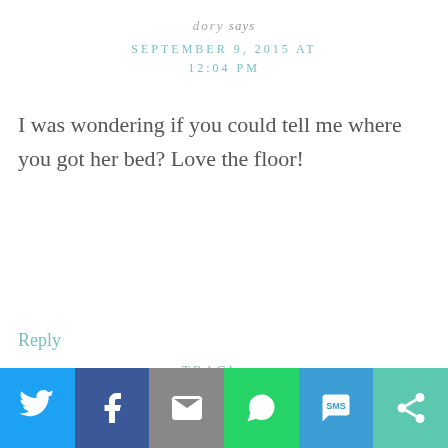dory says
SEPTEMBER 9, 2015 AT 12:04 PM
I was wondering if you could tell me where you got her bed? Love the floor!
Reply
TRACI says
SEPTEMBER 4, 2020 AT 2:58 AM
[Figure (other): Social sharing bar with Twitter, Facebook, Email, WhatsApp, SMS, and More buttons]